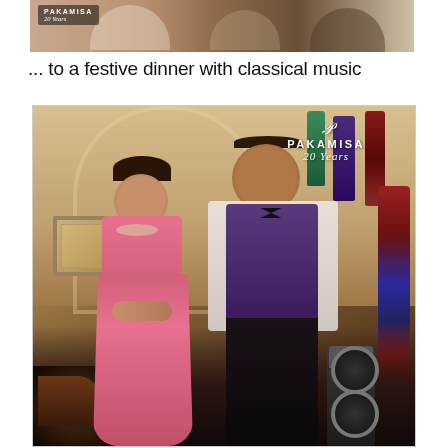[Figure (photo): Top cropped photo showing people at a dinner table with Pakamisa 20 Years branding overlay in top left corner]
... to a festive dinner with classical music
[Figure (photo): A woman in a pink evening gown and a man in a purple vest and white shirt standing together in an elegant room with arched doorway, African decorative panels on the wall, and a speaker on the right. Pakamisa 20 Years logo overlay in top right.]